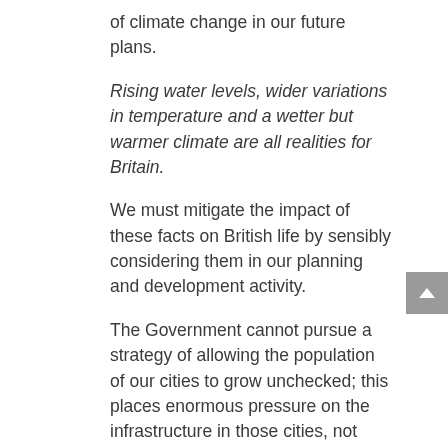of climate change in our future plans.
Rising water levels, wider variations in temperature and a wetter but warmer climate are all realities for Britain.
We must mitigate the impact of these facts on British life by sensibly considering them in our planning and development activity.
The Government cannot pursue a strategy of allowing the population of our cities to grow unchecked; this places enormous pressure on the infrastructure in those cities, not least the need for housing.
The building of housing in flood-plains must stop. The Government must develop a clear strategy for dealing with the need for additional housing, whilst also looking to